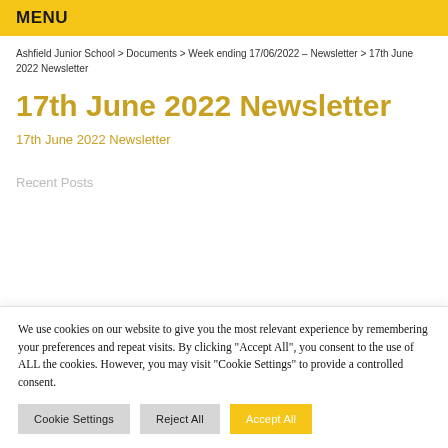MENU
Ashfield Junior School > Documents > Week ending 17/06/2022 – Newsletter > 17th June 2022 Newsletter
17th June 2022 Newsletter
17th June 2022 Newsletter
Recent Posts
We use cookies on our website to give you the most relevant experience by remembering your preferences and repeat visits. By clicking "Accept All", you consent to the use of ALL the cookies. However, you may visit "Cookie Settings" to provide a controlled consent.